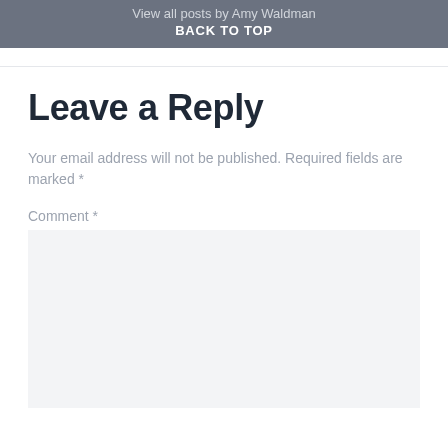View all posts by Amy Waldman
BACK TO TOP
Leave a Reply
Your email address will not be published. Required fields are marked *
Comment *